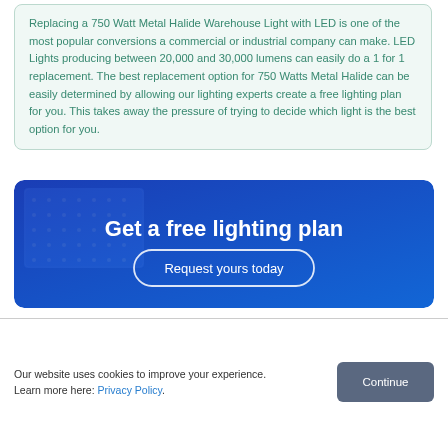Replacing a 750 Watt Metal Halide Warehouse Light with LED is one of the most popular conversions a commercial or industrial company can make. LED Lights producing between 20,000 and 30,000 lumens can easily do a 1 for 1 replacement. The best replacement option for 750 Watts Metal Halide can be easily determined by allowing our lighting experts create a free lighting plan for you. This takes away the pressure of trying to decide which light is the best option for you.
[Figure (infographic): Blue banner with background texture of LED lighting grid. Text reads 'Get a free lighting plan' in bold white, with a rounded button 'Request yours today'.]
Our website uses cookies to improve your experience. Learn more here: Privacy Policy. [Continue button]